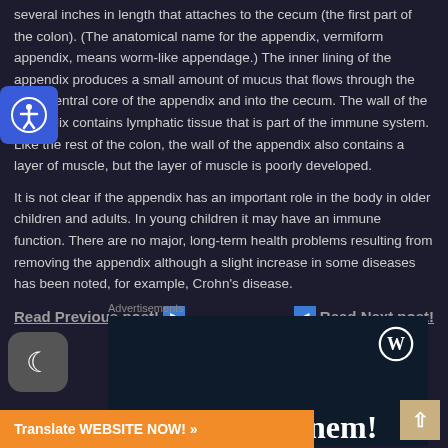several inches in length that attaches to the cecum (the first part of the colon). (The anatomical name for the appendix, vermiform appendix, means worm-like appendage.) The inner lining of the appendix produces a small amount of mucus that flows through the open central core of the appendix and into the cecum. The wall of the appendix contains lymphatic tissue that is part of the immune system. Like the rest of the colon, the wall of the appendix also contains a layer of muscle, but the layer of muscle is poorly developed.
It is not clear if the appendix has an important role in the body in older children and adults. In young children it may have an immune function. There are no major, long-term health problems resulting from removing the appendix although a slight increase in some diseases has been noted, for example, Crohn's disease.
Read Previous post! ▶   ◀ Read Next post!
[Figure (screenshot): Advertisement box with WordPress logo and large text 'Opinions.' on dark navy background]
[Figure (other): Orange 'Translate WEBSITE NOW!' banner at bottom of page]
[Figure (other): Accessibility icon (person in circle) on blue background, top left]
[Figure (other): Dark mode toggle button with crescent moon icon, bottom left]
[Figure (other): Scroll to top button (up arrow) on tan/gold background, bottom right]